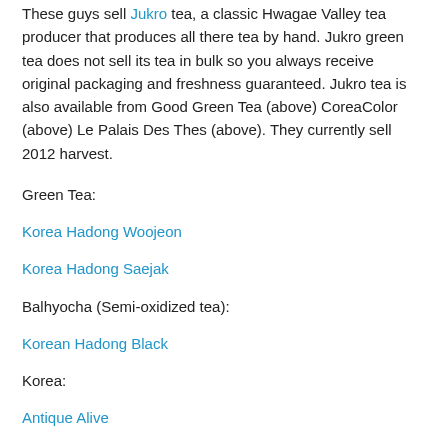These guys sell Jukro tea, a classic Hwagae Valley tea producer that produces all there tea by hand. Jukro green tea does not sell its tea in bulk so you always receive original packaging and freshness guaranteed. Jukro tea is also available from Good Green Tea (above) CoreaColor (above) Le Palais Des Thes (above). They currently sell 2012 harvest.
Green Tea:
Korea Hadong Woojeon
Korea Hadong Saejak
Balhyocha (Semi-oxidized tea):
Korean Hadong Black
Korea:
Antique Alive
These guys operate an exclusively web-based store in